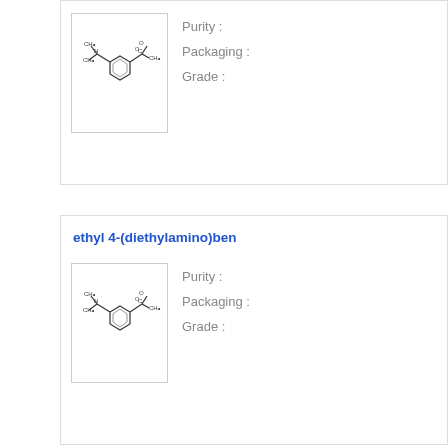[Figure (illustration): Chemical structure of a diethylaminobenzoate compound (top card), shown as a skeletal formula with benzene ring, ester group, and diethylamino group]
Purity :
Packaging :
Grade :
ethyl 4-(diethylamino)ben
[Figure (illustration): Chemical structure of ethyl 4-(diethylamino)benzoate compound (bottom card), shown as a skeletal formula with benzene ring, ester group, and diethylamino group]
Purity :
Packaging :
Grade :